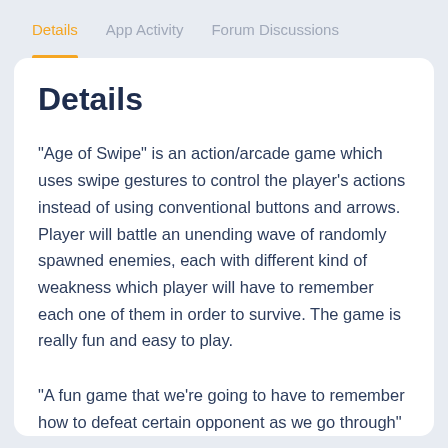Details | App Activity | Forum Discussions
Details
"Age of Swipe" is an action/arcade game which uses swipe gestures to control the player's actions instead of using conventional buttons and arrows. Player will battle an unending wave of randomly spawned enemies, each with different kind of weakness which player will have to remember each one of them in order to survive. The game is really fun and easy to play.
"A fun game that we're going to have to remember how to defeat certain opponent as we go through"